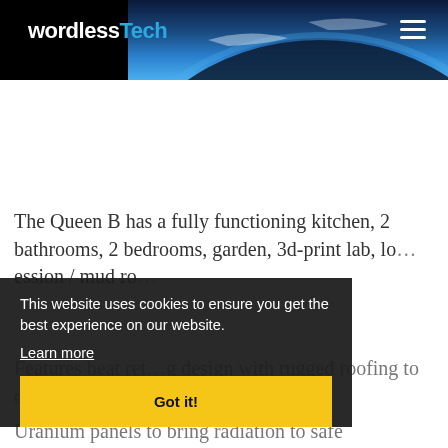wordlessTech
The Queen B has a fully functioning kitchen, 2 bathrooms, 2 bedrooms, garden, 3d-print lab, lo...ession / mud ro...
This website uses cookies to ensure you get the best experience on our website.
Learn more
Got it!
Features heat ret...g design with rugged roofing to deflect debris, and depleted Uranium panels to bring radiation to safe